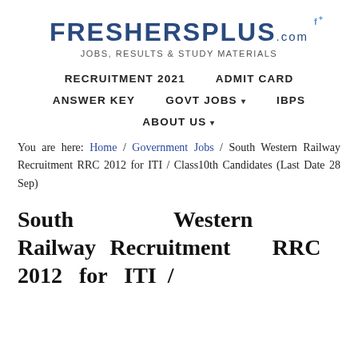FRESHERSPLUS.com f+ JOBS, RESULTS & STUDY MATERIALS
RECRUITMENT 2021   ADMIT CARD   ANSWER KEY   GOVT JOBS ▼   IBPS   ABOUT US ▼
You are here: Home / Government Jobs / South Western Railway Recruitment RRC 2012 for ITI / Class10th Candidates (Last Date 28 Sep)
South Western Railway Recruitment RRC 2012 for ITI /